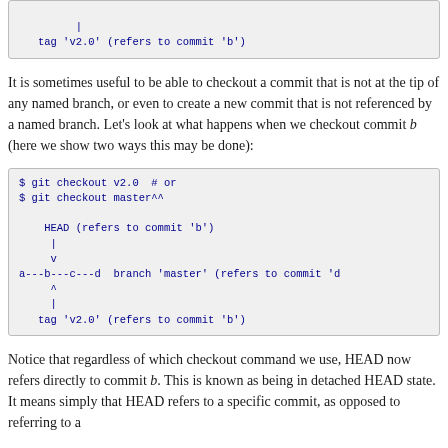[Figure (screenshot): Code block showing top portion: '| tag v2.0 (refers to commit b)']
It is sometimes useful to be able to checkout a commit that is not at the tip of any named branch, or even to create a new commit that is not referenced by a named branch. Let's look at what happens when we checkout commit b (here we show two ways this may be done):
[Figure (screenshot): Code block showing: $ git checkout v2.0  # or
$ git checkout master^^

    HEAD (refers to commit 'b')
     |
     v
a---b---c---d  branch 'master' (refers to commit 'd)
     ^
     |
   tag 'v2.0' (refers to commit 'b')]
Notice that regardless of which checkout command we use, HEAD now refers directly to commit b. This is known as being in detached HEAD state. It means simply that HEAD refers to a specific commit, as opposed to referring to a